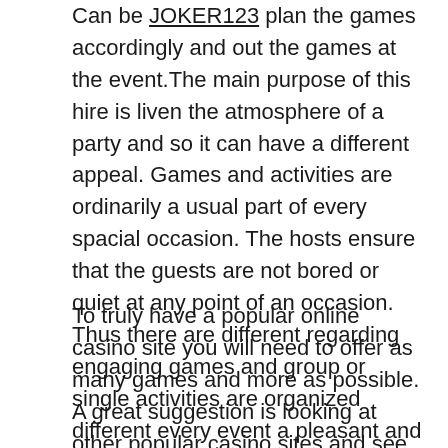Can be JOKER123 plan the games accordingly and out the games at the event.The main purpose of this hire is liven the atmosphere of a party and so it can have a different appeal. Games and activities are ordinarily a usual part of every spacial occasion. The hosts ensure that the guests are not bored or quiet at any point of an occasion. Thus there are different regarding engaging games and group or single activities are organized different every event a pleasant and a joyous unique. One such means is that of fun casino events escalating very often put to use. There is a wide variety of games areas bound to pique interest among different guests.
To truly have a popular online casino site you will need to offer as many games and more as possible. A great suggestion is looking at other popular casino sites and see what they have to offer. Then, match the truly amazing offer as well as go aside from it. Exterior lights game selection your casino site allows the better off it